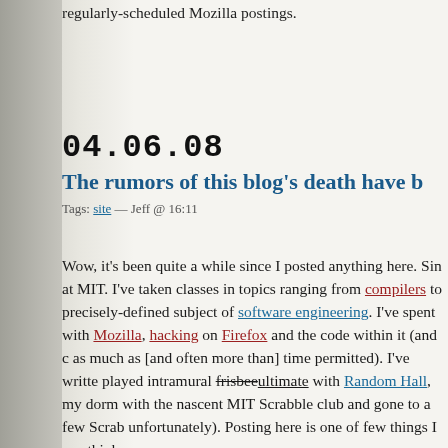regularly-scheduled Mozilla postings.
04.06.08
The rumors of this blog's death have b
Tags: site — Jeff @ 16:11
Wow, it's been quite a while since I posted anything here. Sin at MIT. I've taken classes in topics ranging from compilers to precisely-defined subject of software engineering. I've spent with Mozilla, hacking on Firefox and the code within it (and c as much as [and often more than] time permitted). I've writte played intramural frisbeeultimate with Random Hall, my dorm with the nascent MIT Scrabble club and gone to a few Scrab unfortunately). Posting here is one of few things I can think o
Starting now, I'm going to make an effort to change that.